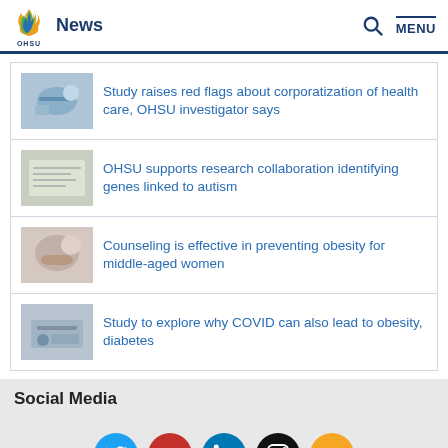OHSU News
Study raises red flags about corporatization of health care, OHSU investigator says
OHSU supports research collaboration identifying genes linked to autism
Counseling is effective in preventing obesity for middle-aged women
Study to explore why COVID can also lead to obesity, diabetes
Social Media
[Figure (other): Social media icons: Twitter, YouTube, LinkedIn, Instagram, RSS feed]